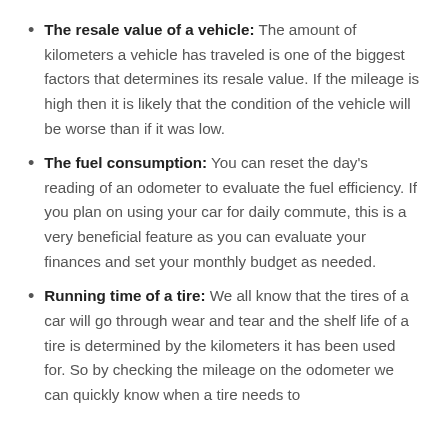The resale value of a vehicle: The amount of kilometers a vehicle has traveled is one of the biggest factors that determines its resale value. If the mileage is high then it is likely that the condition of the vehicle will be worse than if it was low.
The fuel consumption: You can reset the day's reading of an odometer to evaluate the fuel efficiency. If you plan on using your car for daily commute, this is a very beneficial feature as you can evaluate your finances and set your monthly budget as needed.
Running time of a tire: We all know that the tires of a car will go through wear and tear and the shelf life of a tire is determined by the kilometers it has been used for. So by checking the mileage on the odometer we can quickly know when a tire needs to